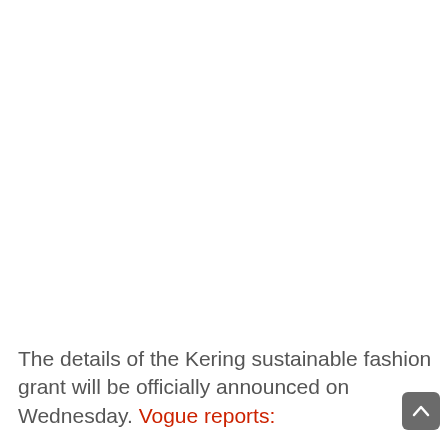The details of the Kering sustainable fashion grant will be officially announced on Wednesday. Vogue reports: